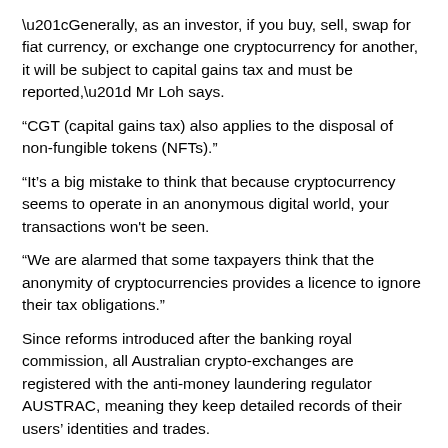“Generally, as an investor, if you buy, sell, swap for fiat currency, or exchange one cryptocurrency for another, it will be subject to capital gains tax and must be reported,” Mr Loh says.
“CGT (capital gains tax) also applies to the disposal of non-fungible tokens (NFTs).”
“It’s a big mistake to think that because cryptocurrency seems to operate in an anonymous digital world, your transactions won't be seen.
“We are alarmed that some taxpayers think that the anonymity of cryptocurrencies provides a licence to ignore their tax obligations."
Since reforms introduced after the banking royal commission, all Australian crypto-exchanges are registered with the anti-money laundering regulator AUSTRAC, meaning they keep detailed records of their users’ identities and trades.
The ATO is tracking the transactions too, matching data from cryptocurrency service providers, banks and other financial institutions to an individual's tax return.
Mr Loh says users should keep detailed records.
“The best tip to nail your cryptocurrency gains and losses is to keep accurate records, including dates of transactions, the value in Australian